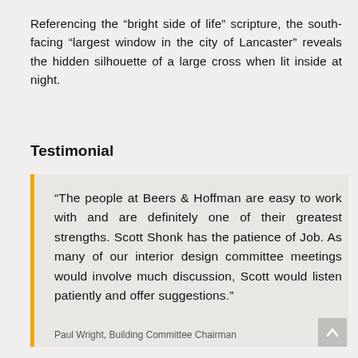Referencing the “bright side of life” scripture, the south-facing “largest window in the city of Lancaster” reveals the hidden silhouette of a large cross when lit inside at night.
Testimonial
“The people at Beers & Hoffman are easy to work with and are definitely one of their greatest strengths. Scott Shonk has the patience of Job. As many of our interior design committee meetings would involve much discussion, Scott would listen patiently and offer suggestions.”
Paul Wright, Building Committee Chairman